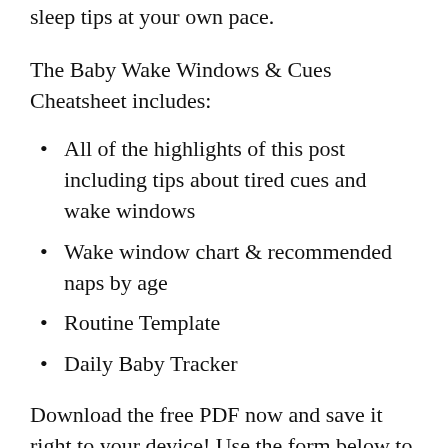sleep tips at your own pace.
The Baby Wake Windows & Cues Cheatsheet includes:
All of the highlights of this post including tips about tired cues and wake windows
Wake window chart & recommended naps by age
Routine Template
Daily Baby Tracker
Download the free PDF now and save it right to your device! Use the form below to get it sent straight to your best email address.